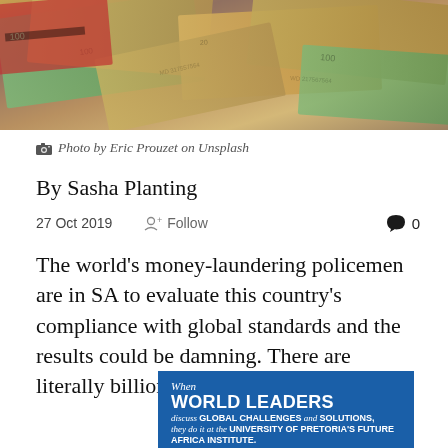[Figure (photo): Overhead photo of various international paper currency bills spread out on a surface, including US dollars and other banknotes]
Photo by Eric Prouzet on Unsplash
By Sasha Planting
27 Oct 2019   Follow   0
The world's money-laundering policemen are in SA to evaluate this country's compliance with global standards and the results could be damning. There are literally billions at stake.
[Figure (infographic): Blue advertisement banner for University of Pretoria's Future Africa Institute. Text reads: When WORLD LEADERS discuss GLOBAL CHALLENGES and SOLUTIONS, they do it at the UNIVERSITY OF PRETORIA'S FUTURE AFRICA INSTITUTE. #WhereWorldLeadersMeet]